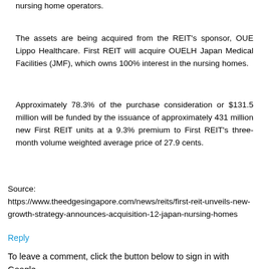nursing home operators.
The assets are being acquired from the REIT's sponsor, OUE Lippo Healthcare. First REIT will acquire OUELH Japan Medical Facilities (JMF), which owns 100% interest in the nursing homes.
Approximately 78.3% of the purchase consideration or $131.5 million will be funded by the issuance of approximately 431 million new First REIT units at a 9.3% premium to First REIT's three-month volume weighted average price of 27.9 cents.
Source:
https://www.theedgesingapore.com/news/reits/first-reit-unveils-new-growth-strategy-announces-acquisition-12-japan-nursing-homes
Reply
To leave a comment, click the button below to sign in with Google.